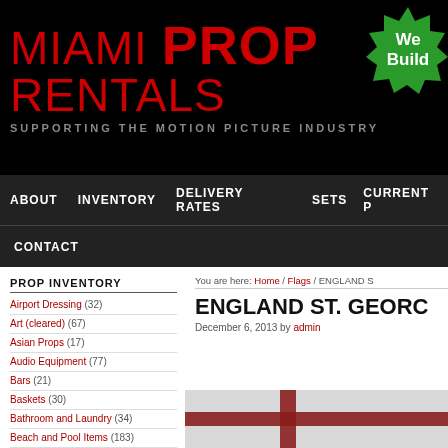[Figure (logo): Miami Prop Rentals logo on black background with red text and 'We Build' green badge]
ABOUT  INVENTORY  DELIVERY RATES  SETS  CURRENT P  CONTACT
PROP INVENTORY
Airport Dressing (32)
Art (cleared) (67)
Asian Props (17)
Audio Equipment (77)
Bars (21)
Baskets (30)
Bathroom and Laundry (34)
Beach and Pool Items (183)
Benches (36)
You are here: Home / Flags / ENGLAND S
ENGLAND ST. GEORG
December 6, 2013 by admin
[Figure (photo): England St. George's Cross flag, white with red cross]